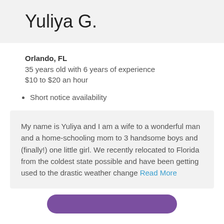Yuliya G.
Orlando, FL
35 years old with 6 years of experience
$10 to $20 an hour
Short notice availability
My name is Yuliya and I am a wife to a wonderful man and a home-schooling mom to 3 handsome boys and (finally!) one little girl. We recently relocated to Florida from the coldest state possible and have been getting used to the drastic weather change Read More
[Figure (other): Purple rounded rectangle button at bottom]